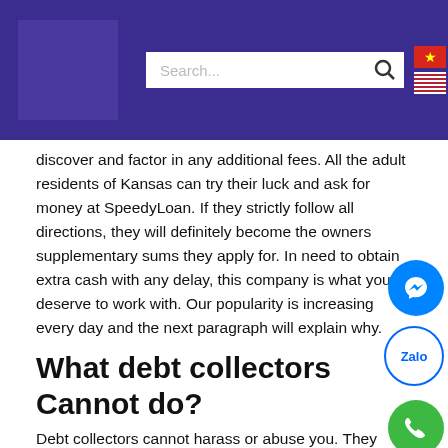[Figure (screenshot): Website header with purple background, logo placeholder, search bar, Vietnamese and US flags, and hamburger menu icon]
discover and factor in any additional fees. All the adult residents of Kansas can try their luck and ask for money at SpeedyLoan. If they strictly follow all directions, they will definitely become the owners supplementary sums they apply for. In need to obtain extra cash with any delay, this company is what you deserve to work with. Our popularity is increasing every day and the next paragraph will explain why.
What debt collectors Cannot do?
Debt collectors cannot harass or abuse you. They cannot swear, threaten to illegally harm you or your property, threaten you with illegal actions, or falsely threaten you with actions they do not intend to take. They also cannot make repeated calls over a short period to annoy or harass you.
Extra charges substantially increase the cost of a loan. You can do it from home using your computer, or in a traffic jam using your phone. You can't be charged more than $1 per every $5 if your loan is $30 or less. Submit some additional documents to support your identity if required. You may